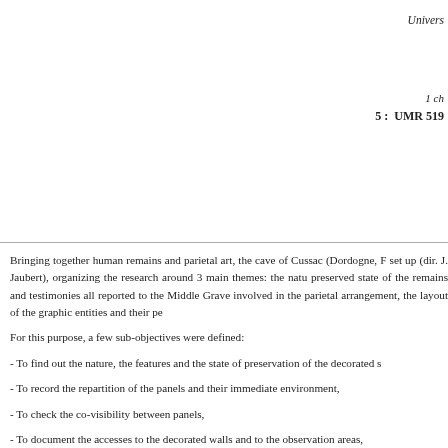Univers
1 ch
5 : UMR 519
Bringing together human remains and parietal art, the cave of Cussac (Dordogne, F set up (dir. J. Jaubert), organizing the research around 3 main themes: the natu preserved state of the remains and testimonies all reported to the Middle Grave involved in the parietal arrangement, the layout of the graphic entities and their pe
For this purpose, a few sub-objectives were defined:
- To find out the nature, the features and the state of preservation of the decorated s
- To record the repartition of the panels and their immediate environment,
- To check the co-visibility between panels,
- To document the accesses to the decorated walls and to the observation areas,
- To record the visibility and legibility areas of the panels.
They allow the discussion about the question of space investment and the mov karstology, parietal art, activity traces and lighting.